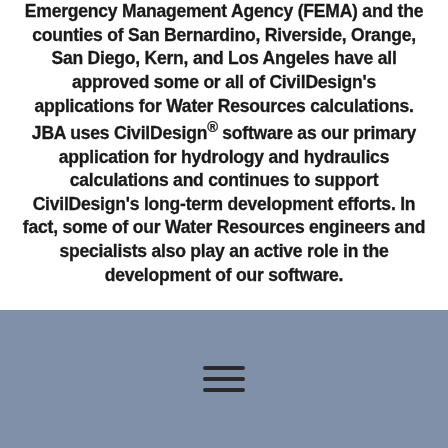Emergency Management Agency (FEMA) and the counties of San Bernardino, Riverside, Orange, San Diego, Kern, and Los Angeles have all approved some or all of CivilDesign's applications for Water Resources calculations. JBA uses CivilDesign® software as our primary application for hydrology and hydraulics calculations and continues to support CivilDesign's long-term development efforts. In fact, some of our Water Resources engineers and specialists also play an active role in the development of our software.
[Figure (other): Hamburger menu icon (three horizontal lines) on a muted blue-grey background]